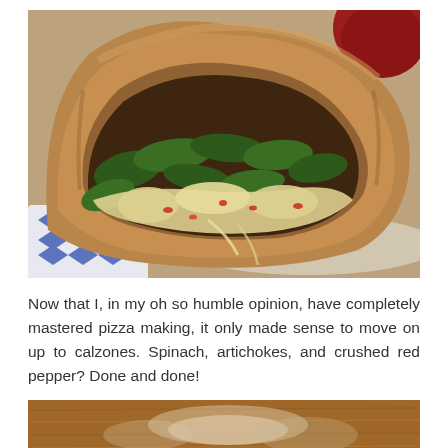[Figure (photo): Close-up photo of a calzone cut open, showing spinach, artichoke, and crushed red pepper filling with melted cheese inside a baked wheat crust, placed on a blue and white patterned plate.]
Now that I, in my oh so humble opinion, have completely mastered pizza making, it only made sense to move on up to calzones. Spinach, artichokes, and crushed red pepper? Done and done!
[Figure (photo): Partial photo of food items on a wooden surface, cropped at the bottom of the page.]